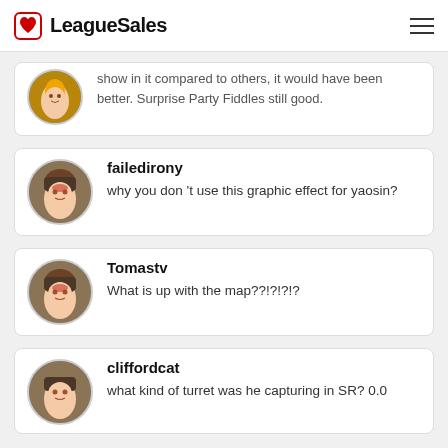LeagueSales
...show in it compared to others, it would have been better. Surprise Party Fiddles still good.
failedirony
why you don 't use this graphic effect for yaosin?
Tomastv
What is up with the map??!?!?!?
cliffordcat
what kind of turret was he capturing in SR? 0.0